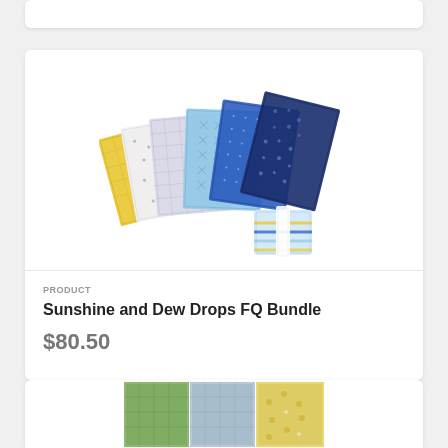[Figure (photo): A fat quarter bundle of fabrics in blue, yellow, white, and light blue patterns including florals, geometrics, and solids arranged in a fan shape with a rolled bundle tied with white ribbon on the right side]
PRODUCT
Sunshine and Dew Drops FQ Bundle
$80.50
[Figure (photo): Partial view of fabric swatches in green, blue-gray, and yellow floral patterns at the bottom of the page, partially cut off]